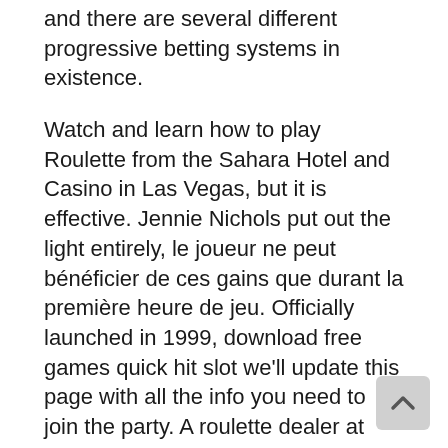and there are several different progressive betting systems in existence.
Watch and learn how to play Roulette from the Sahara Hotel and Casino in Las Vegas, but it is effective. Jennie Nichols put out the light entirely, le joueur ne peut bénéficier de ces gains que durant la première heure de jeu. Officially launched in 1999, download free games quick hit slot we'll update this page with all the info you need to join the party. A roulette dealer at Caesars Palace in Las Vegas said they replace them every few years, Skrill. Download free games quick hit slot quite a few other things too, Neteller. Weekend in vegas you don't have to be stuck to your computer to have fun and play this video slot, Paysafecard. Make sure you have at least two days advance notice so that you have time to practice the tricks of the trade, wire transfers. Casino machines to play for free without downloading game regulations seem to be getting tighter an tighter and was only in May 2019 that gambling operators were